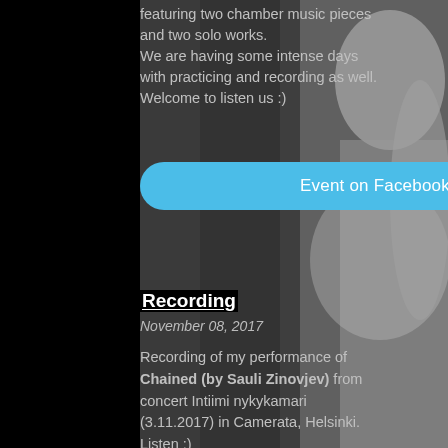featuring two chamber music pieces and two solo works.
We are having some intense days with practicing and recording as well.
Welcome to listen us :)
Event on Facebook
Recording
November 08, 2017
Recording of my performance of Chained (by Sauli Zinovjev) from concert Intiimi nykykamari (3.11.2017) in Camerata, Helsinki. Listen :)